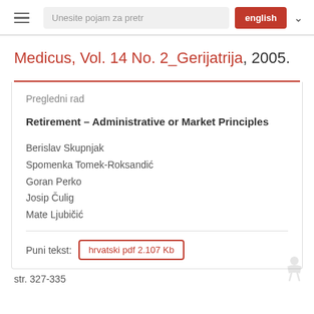Unesite pojam za pretr  english
Medicus, Vol. 14 No. 2_Gerijatrija, 2005.
Pregledni rad
Retirement – Administrative or Market Principles
Berislav Skupnjak
Spomenka Tomek-Roksandić
Goran Perko
Josip Čulig
Mate Ljubičić
Puni tekst:  hrvatski pdf 2.107 Kb
str. 327-335